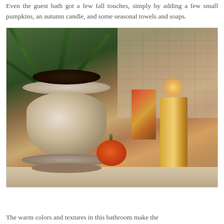Even the guest bath got a few fall touches, simply by adding a few small pumpkins, an autumn candle, and some seasonal towels and soaps.
[Figure (photo): A ceramic plant pot with a leafy orchid plant, a small orange pumpkin, and a lit autumn-themed candle on a tiled bathroom counter.]
The warm colors and textures in this bathroom make the